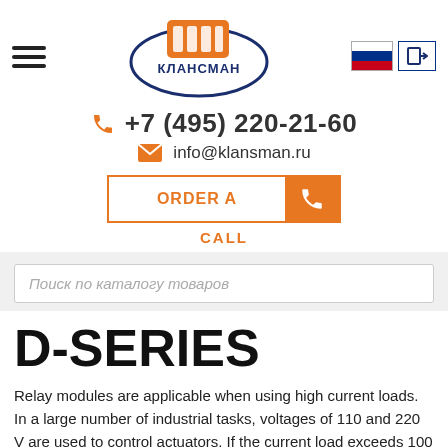[Figure (logo): Klansman company logo with orange connector graphic and blue ellipse with Cyrillic text КЛАНSMAN]
+7 (495) 220-21-60
info@klansman.ru
ORDER A CALL
Поиск по каталогу товаров
D-SERIES
Relay modules are applicable when using high current loads. In a large number of industrial tasks, voltages of 110 and 220 V are used to control actuators. If the current load exceeds 100 mA, such high